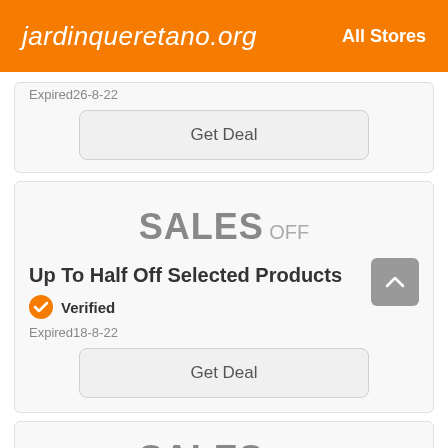jardinqueretano.org   All Stores
Expired26-8-22
Get Deal
SALES OFF
Up To Half Off Selected Products
Verified
Expired18-8-22
Get Deal
SALES OFF